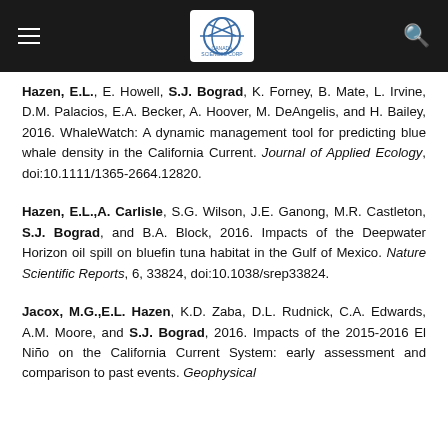Navigation header with logo
Hazen, E.L., E. Howell, S.J. Bograd, K. Forney, B. Mate, L. Irvine, D.M. Palacios, E.A. Becker, A. Hoover, M. DeAngelis, and H. Bailey, 2016. WhaleWatch: A dynamic management tool for predicting blue whale density in the California Current. Journal of Applied Ecology, doi:10.1111/1365-2664.12820.
Hazen, E.L.,A. Carlisle, S.G. Wilson, J.E. Ganong, M.R. Castleton, S.J. Bograd, and B.A. Block, 2016. Impacts of the Deepwater Horizon oil spill on bluefin tuna habitat in the Gulf of Mexico. Nature Scientific Reports, 6, 33824, doi:10.1038/srep33824.
Jacox, M.G.,E.L. Hazen, K.D. Zaba, D.L. Rudnick, C.A. Edwards, A.M. Moore, and S.J. Bograd, 2016. Impacts of the 2015-2016 El Niño on the California Current System: early assessment and comparison to past events. Geophysical...